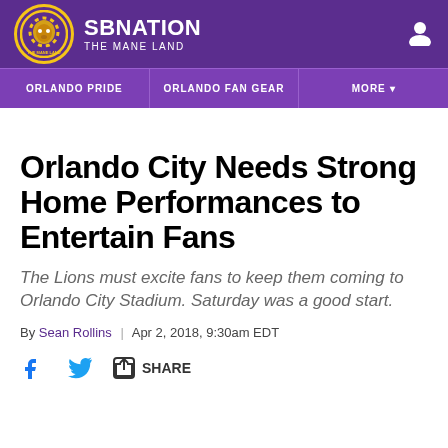SBNATION THE MANE LAND
ORLANDO PRIDE | ORLANDO FAN GEAR | MORE
Orlando City Needs Strong Home Performances to Entertain Fans
The Lions must excite fans to keep them coming to Orlando City Stadium. Saturday was a good start.
By Sean Rollins | Apr 2, 2018, 9:30am EDT
SHARE